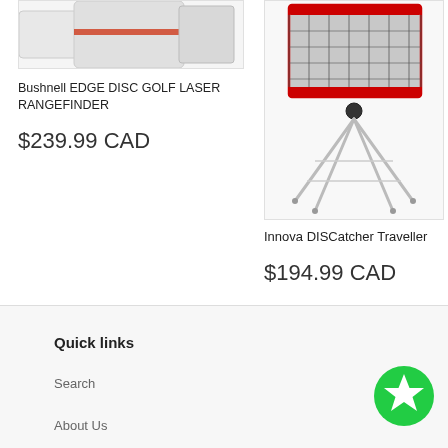[Figure (photo): Bushnell EDGE Disc Golf Laser Rangefinder product image showing top portion of the device]
Bushnell EDGE DISC GOLF LASER RANGEFINDER
$239.99 CAD
[Figure (photo): Innova DISCatcher Traveller disc golf basket - a portable disc golf target with red and black netting on a silver folding stand]
Innova DISCatcher Traveller
$194.99 CAD
Quick links
Search
About Us